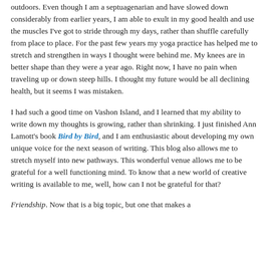outdoors. Even though I am a septuagenarian and have slowed down considerably from earlier years, I am able to exult in my good health and use the muscles I've got to stride through my days, rather than shuffle carefully from place to place. For the past few years my yoga practice has helped me to stretch and strengthen in ways I thought were behind me. My knees are in better shape than they were a year ago. Right now, I have no pain when traveling up or down steep hills. I thought my future would be all declining health, but it seems I was mistaken.
I had such a good time on Vashon Island, and I learned that my ability to write down my thoughts is growing, rather than shrinking. I just finished Ann Lamott's book Bird by Bird, and I am enthusiastic about developing my own unique voice for the next season of writing. This blog also allows me to stretch myself into new pathways. This wonderful venue allows me to be grateful for a well functioning mind. To know that a new world of creative writing is available to me, well, how can I not be grateful for that?
Friendship. Now that is a big topic, but one that makes a